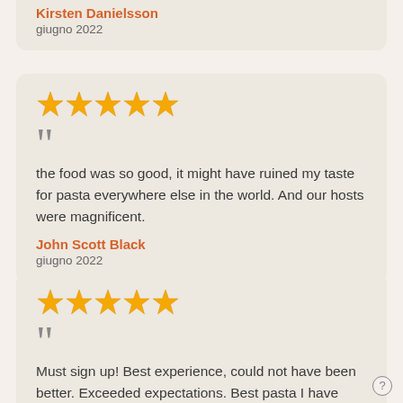giugno 2022
★★★★★
the food was so good, it might have ruined my taste for pasta everywhere else in the world. And our hosts were magnificent.
John Scott Black
giugno 2022
★★★★★
Must sign up! Best experience, could not have been better. Exceeded expectations. Best pasta I have ever had.
Kelly Mata